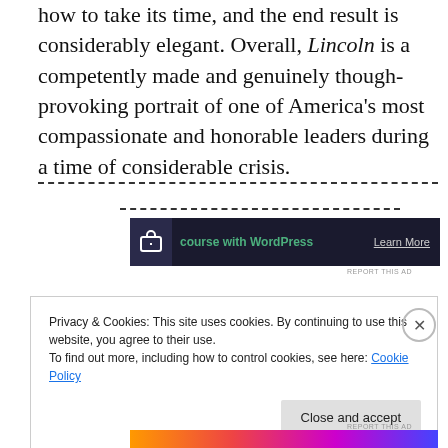how to take its time, and the end result is considerably elegant. Overall, Lincoln is a competently made and genuinely though-provoking portrait of one of America's most compassionate and honorable leaders during a time of considerable crisis.
[Figure (other): Advertisement banner for a WordPress course with dark background, green text 'course with WordPress', 'Learn More' link, and a logo icon.]
Privacy & Cookies: This site uses cookies. By continuing to use this website, you agree to their use.
To find out more, including how to control cookies, see here: Cookie Policy